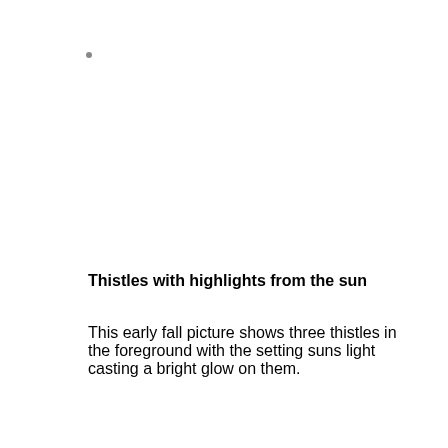[Figure (photo): A small dot placeholder indicating an image location — likely a photo of thistles with sun highlights]
Thistles with highlights from the sun
This early fall picture shows three thistles in the foreground with the setting suns light casting a bright glow on them.